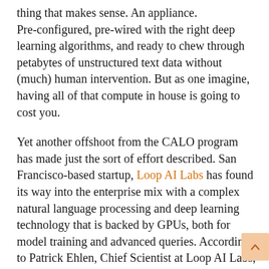thing that makes sense. An appliance. Pre-configured, pre-wired with the right deep learning algorithms, and ready to chew through petabytes of unstructured text data without (much) human intervention. But as one imagine, having all of that compute in house is going to cost you.
Yet another offshoot from the CALO program has made just the sort of effort described. San Francisco-based startup, Loop AI Labs has found its way into the enterprise mix with a complex natural language processing and deep learning technology that is backed by GPUs, both for model training and advanced queries. According to Patrick Ehlen, Chief Scientist at Loop AI Labs, there is a growing market for deep semantic learning, and accordingly, for hardware and software systems that can keep pace with expanding, complex deep learning models. “While it’s one thing to have